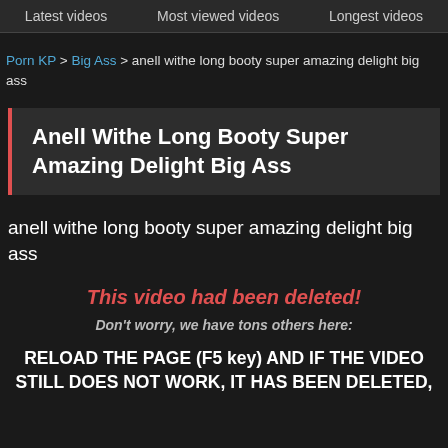Latest videos   Most viewed videos   Longest videos
Porn KP > Big Ass > anell withe long booty super amazing delight big ass
Anell Withe Long Booty Super Amazing Delight Big Ass
anell withe long booty super amazing delight big ass
This video had been deleted!
Don't worry, we have tons others here:
RELOAD THE PAGE (F5 key) AND IF THE VIDEO STILL DOES NOT WORK, IT HAS BEEN DELETED,